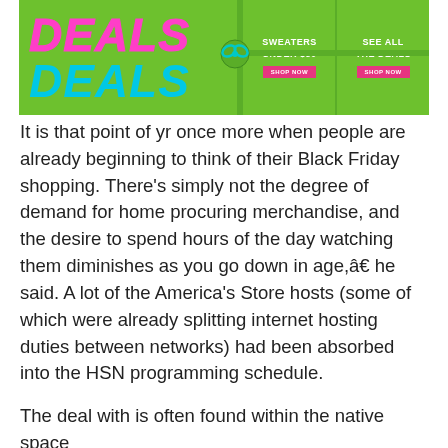[Figure (screenshot): Green promotional banner advertising Black Friday deals with text 'DEALS DEALS', 'SWEATERS UNDER $50', 'SEE ALL THE DEALS', and 'SHOP NOW' buttons]
It is that point of yr once more when people are already beginning to think of their Black Friday shopping. There's simply not the degree of demand for home procuring merchandise, and the desire to spend hours of the day watching them diminishes as you go down in age,â€ he said. A lot of the America's Store hosts (some of which were already splitting internet hosting duties between networks) had been absorbed into the HSN programming schedule.
The deal with is often found within the native space